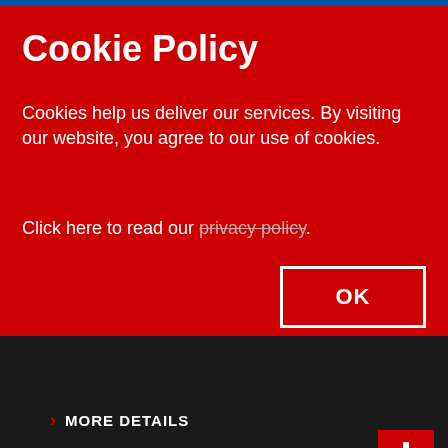Cookie Policy
Cookies help us deliver our services. By visiting our website, you agree to our use of cookies.
Click here to read our privacy policy.
> MORE DETAILS
Copyright © 2021 China Europe International Business School, CEIBS Switzerland AG, Hirsackerstrasse 46, 8810 Horgen-CH, CHE-274.816.107